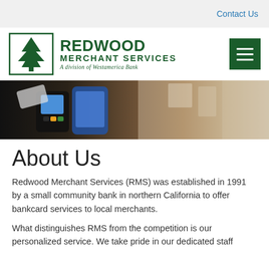Contact Us
[Figure (logo): Redwood Merchant Services logo with pine tree icon and text 'REDWOOD MERCHANT SERVICES – A division of Westamerica Bank']
[Figure (photo): Hero banner photo showing a card payment terminal with a hand holding a card near a mobile phone display]
About Us
Redwood Merchant Services (RMS) was established in 1991 by a small community bank in northern California to offer bankcard services to local merchants.
What distinguishes RMS from the competition is our personalized service. We take pride in our dedicated staff